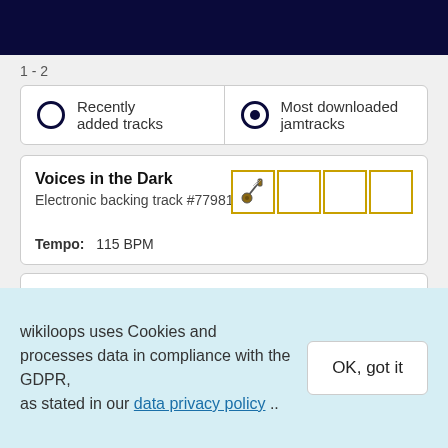1 - 2
Recently added tracks | Most downloaded jamtracks
Voices in the Dark
Electronic backing track #77981
Tempo: 115 BPM
Back to the 80´s
wikiloops uses Cookies and processes data in compliance with the GDPR, as stated in our data privacy policy ..